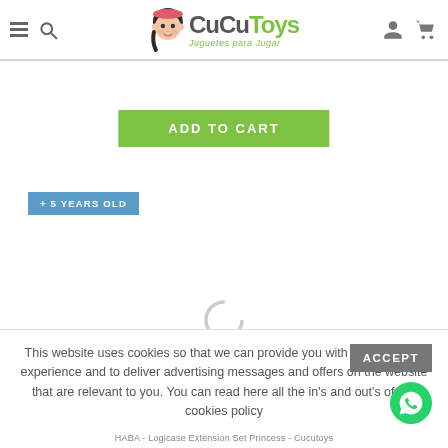[Figure (logo): CuCuToys logo with cartoon girl face, text 'CuCuToys' and tagline 'Juguetes para Jugar']
[Figure (other): ADD TO CART button in green]
+ 5 YEARS OLD
[Figure (other): Loading spinner (grey circle outline)]
This website uses cookies so that we can provide you with the best user experience and to deliver advertising messages and offers on the website that are relevant to you. You can read here all the in's and out's of our cookies policy
HABA - Logicase Extension Set Princess - Cucutoys